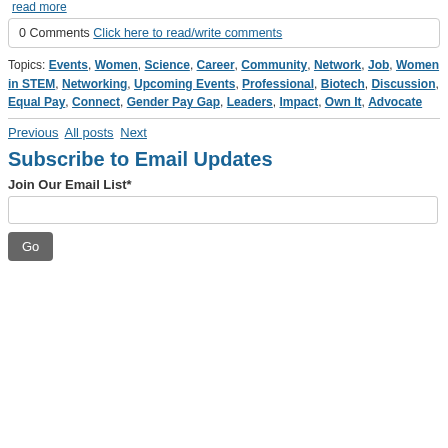read more
0 Comments Click here to read/write comments
Topics: Events, Women, Science, Career, Community, Network, Job, Women in STEM, Networking, Upcoming Events, Professional, Biotech, Discussion, Equal Pay, Connect, Gender Pay Gap, Leaders, Impact, Own It, Advocate
Previous All posts Next
Subscribe to Email Updates
Join Our Email List*
Go